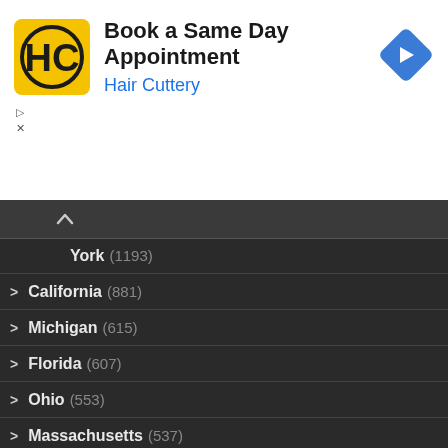[Figure (screenshot): Hair Cuttery advertisement banner: 'Book a Same Day Appointment' with HC logo and navigation arrow icon]
New York (1193)
California (881)
Michigan (615)
Florida (607)
Ohio (553)
Massachusetts (537)
Texas (519)
Illinois (499)
New Jersey (469)
Connecticut (469)